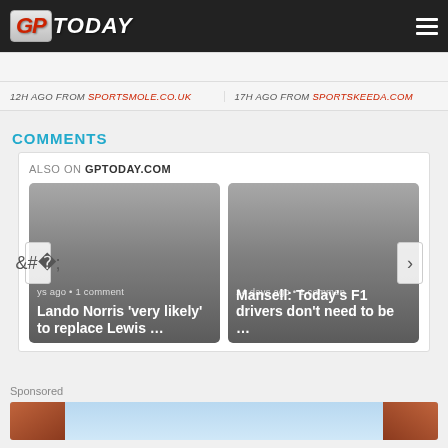GPToday
12H AGO FROM SPORTSMOLE.CO.UK
17H AGO FROM SPORTSKEEDA.COM
COMMENTS
ALSO ON GPTODAY.COM
[Figure (screenshot): Article card: days ago • 1 comment — Lando Norris 'very likely' to replace Lewis …]
[Figure (screenshot): Article card: 14 days ago • 1 comment — Mansell: Today's F1 drivers don't need to be …]
Sponsored
[Figure (photo): Sponsored image showing building with red brick and sky background]